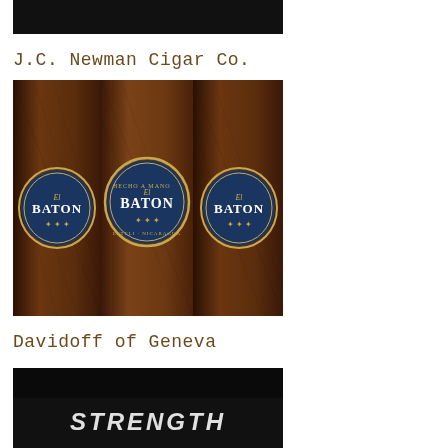[Figure (photo): Partially visible dark/black photo at top of page, cropped]
J.C. Newman Cigar Co.
[Figure (photo): Three El Baton cigars side by side showing dark brown tobacco wrapping with blue and gold oval band labels reading BATON]
Davidoff of Geneva
[Figure (photo): Partially visible dark image with text STRENGTH at the bottom of the page, cropped]